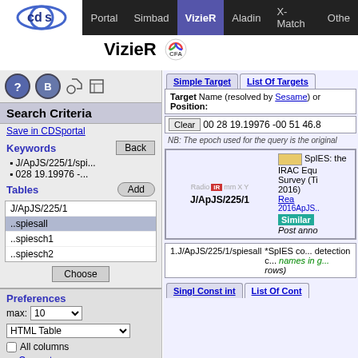Portal | Simbad | VizieR | Aladin | X-Match | Othe...
VizieR
Search Criteria
Save in CDSportal
Keywords
J/ApJS/225/1/spi...
028 19.19976 -...
Tables
| Table |
| --- |
| J/ApJS/225/1 |
| ..spiesall |
| ..spiesch1 |
| ..spiesch2 |
Preferences
max: 10
HTML Table
All columns
Compute
Distance p
Simple Target | List Of Targets
Target Name (resolved by Sesame) or Position:
00 28 19.19976 -00 51 46.8
NB: The epoch used for the query is the original
[Figure (screenshot): VizieR catalog result box showing J/ApJS/225/1 catalog with SpIES colored swatch and IR radio button labels]
1.J/ApJS/225/1/spiesall
*SpIES co... detection c... names in g... rows)